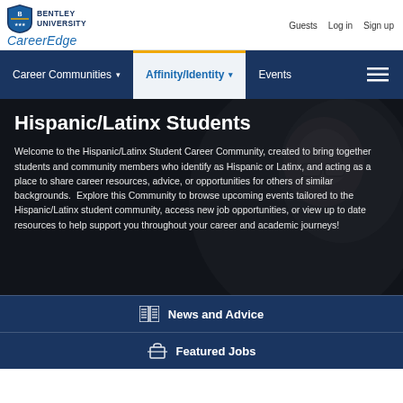Bentley University CareerEdge — Guests | Log in | Sign up
Career Communities ▾   Affinity/Identity ▾   Events
Hispanic/Latinx Students
Welcome to the Hispanic/Latinx Student Career Community, created to bring together students and community members who identify as Hispanic or Latinx, and acting as a place to share career resources, advice, or opportunities for others of similar backgrounds.  Explore this Community to browse upcoming events tailored to the Hispanic/Latinx student community, access new job opportunities, or view up to date resources to help support you throughout your career and academic journeys!
News and Advice
Featured Jobs